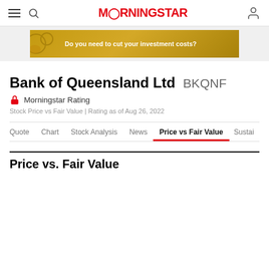MORNINGSTAR
[Figure (illustration): Gold advertisement banner reading 'Do you need to cut your investment costs?']
Bank of Queensland Ltd BKQNF
🔒 Morningstar Rating
Stock Price vs Fair Value | Rating as of Aug 26, 2022
Quote   Chart   Stock Analysis   News   Price vs Fair Value   Sustai  >
Price vs. Fair Value